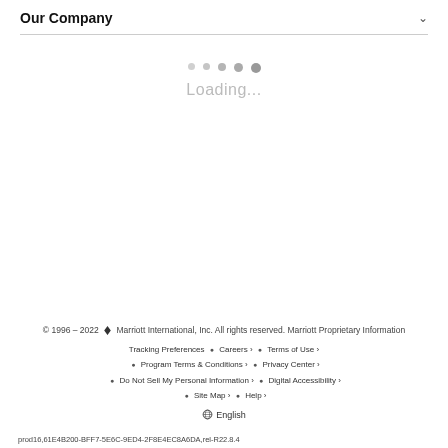Our Company
[Figure (other): Loading indicator with five dots of increasing size and 'Loading...' text]
© 1996 – 2022 Marriott International, Inc. All rights reserved. Marriott Proprietary Information
Tracking Preferences • Careers › • Terms of Use ›
• Program Terms & Conditions › • Privacy Center ›
• Do Not Sell My Personal Information › • Digital Accessibility ›
• Site Map › • Help ›
English
prod16,61E4B200-BFF7-5E6C-9ED4-2F8E4EC8A6DA,rel-R22.8.4